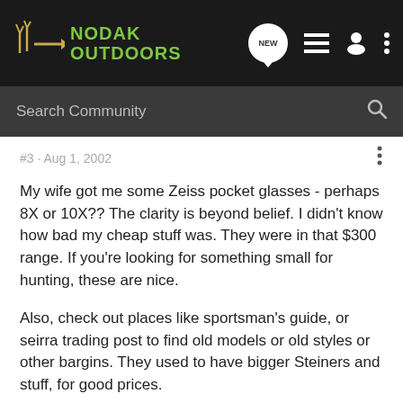[Figure (screenshot): Nodak Outdoors forum navigation bar with logo, search bar, new posts icon, list icon, user icon, and menu dots]
#3 · Aug 1, 2002
My wife got me some Zeiss pocket glasses - perhaps 8X or 10X?? The clarity is beyond belief. I didn't know how bad my cheap stuff was. They were in that $300 range. If you're looking for something small for hunting, these are nice.
Also, check out places like sportsman's guide, or seirra trading post to find old models or old styles or other bargins. They used to have bigger Steiners and stuff, for good prices.
M.
"By selling these facsimiles of real wild animals, these people degrade the whole reality of hunting. They strip away the concept